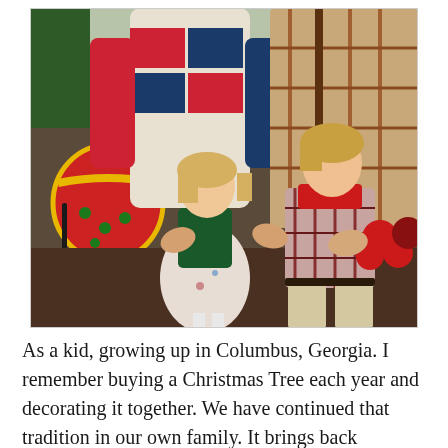[Figure (photo): A vintage family Christmas photo showing two adults and two young children (a girl and a boy) posing outdoors near a large decorative red Christmas ornament and poinsettias. The children are blonde. The adults and children are wearing festive holiday clothing including plaid shirts and a colorful knit sweater. The photo appears to be from the early 1990s.]
As a kid, growing up in Columbus, Georgia. I remember buying a Christmas Tree each year and decorating it together. We have continued that tradition in our own family. It brings back